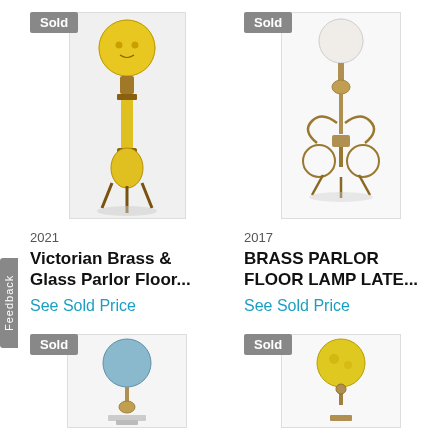[Figure (photo): Victorian Brass and Glass Parlor Floor Lamp with large yellow globe on top and ornate brass stand, 'Sold' badge in top left corner]
2021
Victorian Brass & Glass Parlor Floor...
See Sold Price
[Figure (photo): Brass Parlor Floor Lamp with white/clear globe and ornate scrollwork base, 'Sold' badge in top left corner]
2017
BRASS PARLOR FLOOR LAMP LATE...
See Sold Price
[Figure (photo): Antique floor lamp with blue globe on thin brass stand with round marble base, 'Sold' badge in top left corner]
[Figure (photo): Antique floor lamp with yellow globe on ornate brass stand, 'Sold' badge in top left corner]